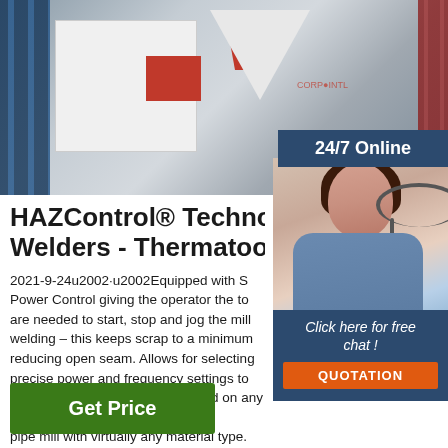[Figure (photo): Industrial tube/pipe mill welding machine with white and red body, blue equipment racks on left, red equipment on right]
24/7 Online
[Figure (photo): Customer support representative woman with headset smiling]
HAZControl® Technology for HF Welders - Thermatool Corp
2021-9-24u2002·u2002Equipped with Solid State Power Control giving the operator the tools that are needed to start, stop and jog the mill prior to welding – this keeps scrap to a minimum while reducing open seam. Allows for selecting the most precise power and frequency settings to successfully produce the best weld on any tube or pipe mill with virtually any material type.
Click here for free chat !
QUOTATION
Get Price